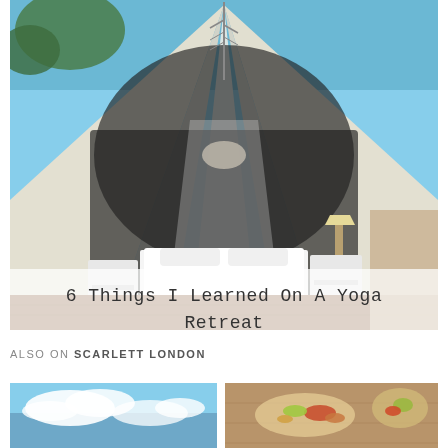[Figure (photo): Interior view of a glamping bell tent / tipi looking upward at the peaked canvas ceiling with wooden poles. Inside shows a white draped canopy bed with white bedding, side tables with a lamp, wooden floor, against a blue sky background at the top.]
6 Things I Learned On A Yoga Retreat
ALSO ON SCARLETT LONDON
[Figure (photo): Blue sky with white clouds, outdoor scene]
[Figure (photo): Food on a wooden board, appears to be a healthy meal or salad]